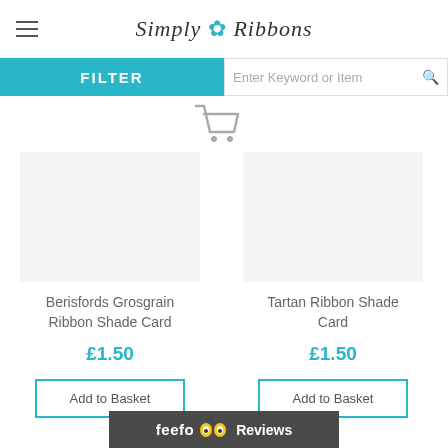Simply Ribbons
FILTER
Enter Keyword or Item
[Figure (screenshot): Shopping cart icon]
Berisfords Grosgrain Ribbon Shade Card
£1.50
Add to Basket
Tartan Ribbon Shade Card
£1.50
Add to Basket
feefo Reviews